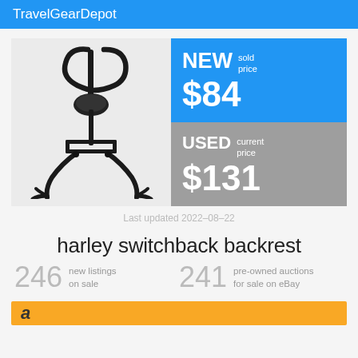TravelGearDepot
[Figure (photo): Black motorcycle sissy bar backrest with luggage rack for Harley Switchback]
NEW sold price $84
USED current price $131
Last updated 2022-08-22
harley switchback backrest
246 new listings on sale
241 pre-owned auctions for sale on eBay